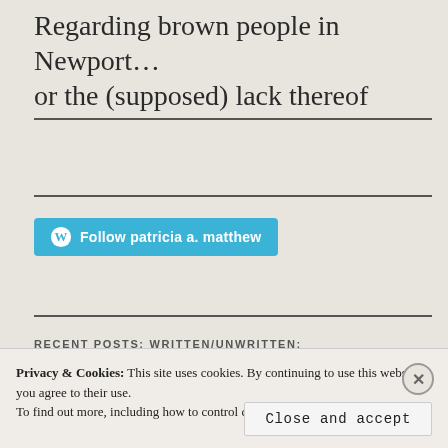Regarding brown people in Newport... or the (supposed) lack thereof
[Figure (other): WordPress Follow button for 'patricia a. matthew' blog, styled in teal/blue with WordPress logo icon]
RECENT POSTS: WRITTEN/UNWRITTEN:
Privacy & Cookies: This site uses cookies. By continuing to use this website, you agree to their use. To find out more, including how to control cookies, see here: Cookie Policy
Close and accept